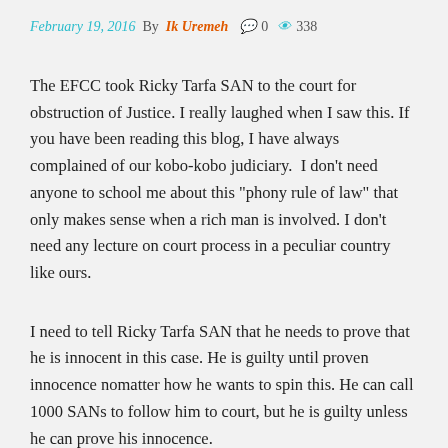February 19, 2016  By Ik Uremeh  0  338
The EFCC took Ricky Tarfa SAN to the court for obstruction of Justice. I really laughed when I saw this. If you have been reading this blog, I have always complained of our kobo-kobo judiciary.  I don't need anyone to school me about this “phony rule of law” that only makes sense when a rich man is involved. I don't need any lecture on court process in a peculiar country like ours.
I need to tell Ricky Tarfa SAN that he needs to prove that he is innocent in this case. He is guilty until proven innocence nomatter how he wants to spin this. He can call 1000 SANs to follow him to court, but he is guilty unless he can prove his innocence.
We live in a country where Judges have their lawyers. Infact if you are rich enough, you would